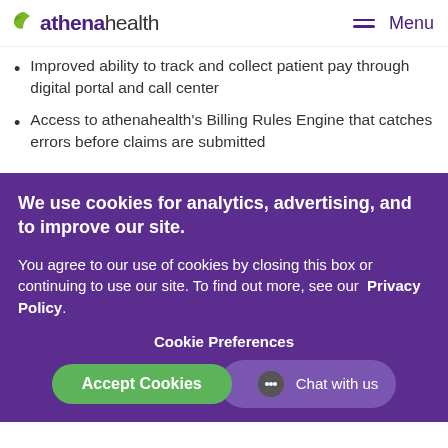athenahealth  Menu
Improved ability to track and collect patient pay through digital portal and call center
Access to athenahealth's Billing Rules Engine that catches errors before claims are submitted
We use cookies for analytics, advertising, and to improve our site.
You agree to our use of cookies by closing this box or continuing to use our site. To find out more, see our  Privacy Policy.
Cookie Preferences
Accept Cookies
Chat with us